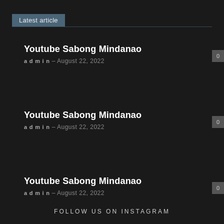Latest article
Youtube Sabong Mindanao
admin - August 22, 2022
Youtube Sabong Mindanao
admin - August 22, 2022
Youtube Sabong Mindanao
admin - August 22, 2022
FOLLOW US ON INSTAGRAM